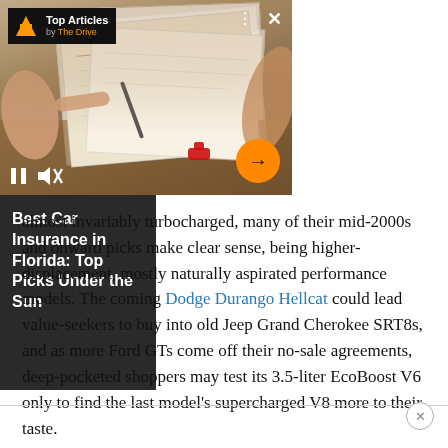[Figure (photo): Video/photo banner showing hands pointing at documents on a wooden table, with a car key nearby. Left panel is a media player with Top Articles badge from The Drive. Right panel is dark with article title text.]
Best Car Insurance in Florida: Top Picks Under the Sun
almost invariably turbocharged, many of their mid-2000s and onward picks make clear sense, being higher-displacement, mostly naturally aspirated performance models. The coming Dodge Durango Hellcat could lead value-seekers to buy into old Jeep Grand Cherokee SRT8s, and as more Ford GTs come off their no-sale agreements, deep-pocketed shoppers may test its 3.5-liter EcoBoost V6 only to find the last model's supercharged V8 more to their taste.